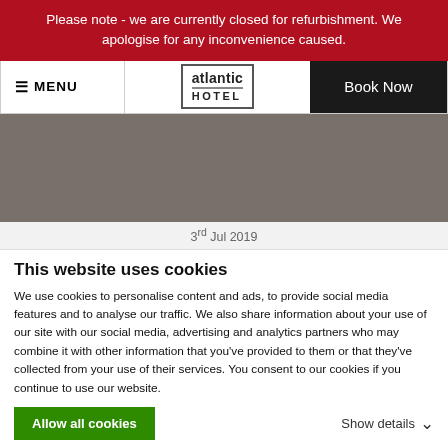Please note - we are currently closed for refurbishment. We apologise for any inconvenience caused.
[Figure (screenshot): Navigation bar with MENU on left, Atlantic Hotel logo in center, Book Now button on right]
[Figure (photo): Gray/taupe colored hero image placeholder]
3rd Jul 2019
This website uses cookies
We use cookies to personalise content and ads, to provide social media features and to analyse our traffic. We also share information about your use of our site with our social media, advertising and analytics partners who may combine it with other information that you've provided to them or that they've collected from your use of their services. You consent to our cookies if you continue to use our website.
Allow all cookies
Show details